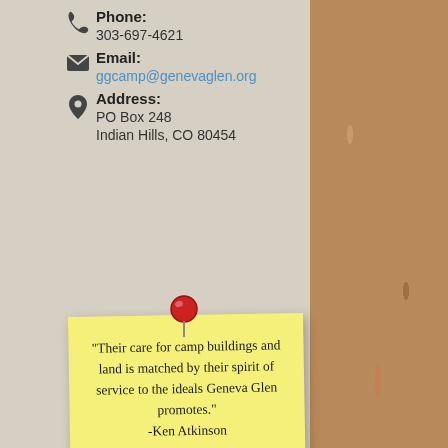Phone: 303-697-4621
Email: ggcamp@genevaglen.org
Address: PO Box 248, Indian Hills, CO 80454
[Figure (other): Yellow sticky note with handwritten quote: "Their care for camp buildings and land is matched by their spirit of service to the ideals Geneva Glen promotes." -Ken Atkinson, pinned with a red thumbtack]
[Figure (logo): American Camp Association Accredited logo — oval badge with stylized figures and colorful text]